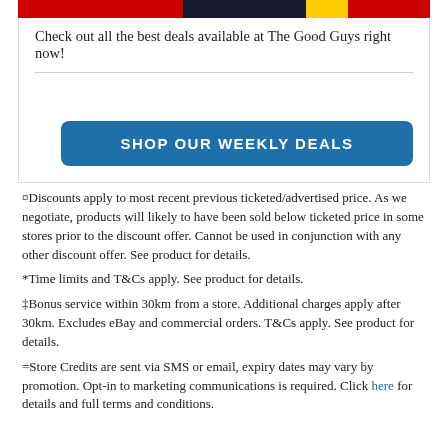[Figure (photo): Partial banner image showing The Good Guys promotional imagery with red, dark, and yellow color bands]
Check out all the best deals available at The Good Guys right now!
[Figure (other): Blue button labeled SHOP OUR WEEKLY DEALS]
¤Discounts apply to most recent previous ticketed/advertised price. As we negotiate, products will likely to have been sold below ticketed price in some stores prior to the discount offer. Cannot be used in conjunction with any other discount offer. See product for details.
*Time limits and T&Cs apply. See product for details.
‡Bonus service within 30km from a store. Additional charges apply after 30km. Excludes eBay and commercial orders. T&Cs apply. See product for details.
=Store Credits are sent via SMS or email, expiry dates may vary by promotion. Opt-in to marketing communications is required. Click here for details and full terms and conditions.